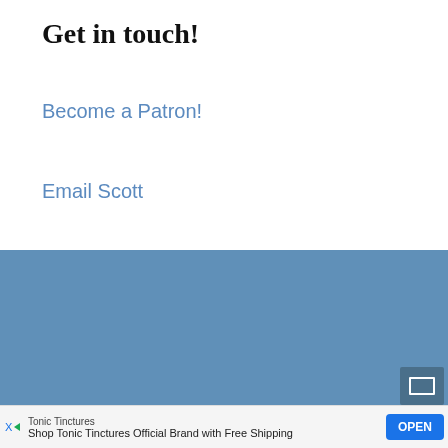Get in touch!
Become a Patron!
Email Scott
Twitter of Doom
[Figure (other): Blue background section filling lower portion of page]
Tonic Tinctures Shop Tonic Tinctures Official Brand with Free Shipping OPEN